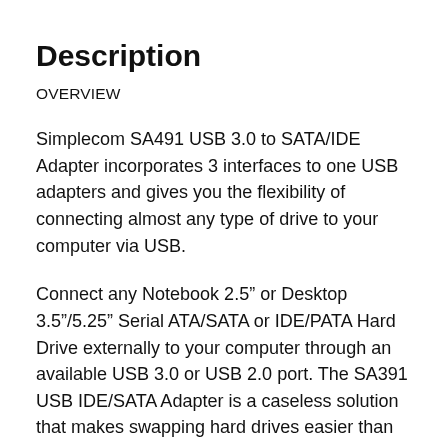Description
OVERVIEW
Simplecom SA491 USB 3.0 to SATA/IDE Adapter incorporates 3 interfaces to one USB adapters and gives you the flexibility of connecting almost any type of drive to your computer via USB.
Connect any Notebook 2.5” or Desktop 3.5”/5.25” Serial ATA/SATA or IDE/PATA Hard Drive externally to your computer through an available USB 3.0 or USB 2.0 port. The SA391 USB IDE/SATA Adapter is a caseless solution that makes swapping hard drives easier than